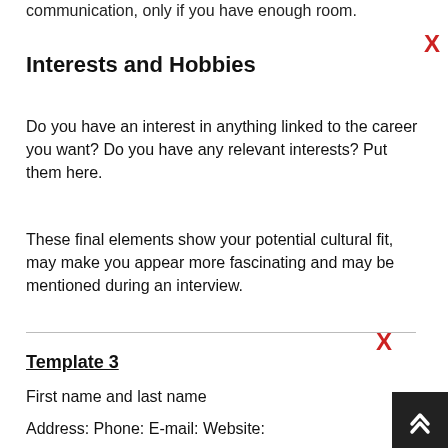communication, only if you have enough room.
Interests and Hobbies
Do you have an interest in anything linked to the career you want? Do you have any relevant interests? Put them here.
These final elements show your potential cultural fit, may make you appear more fascinating and may be mentioned during an interview.
Template 3
First name and last name
Address: Phone:  E-mail: Website: